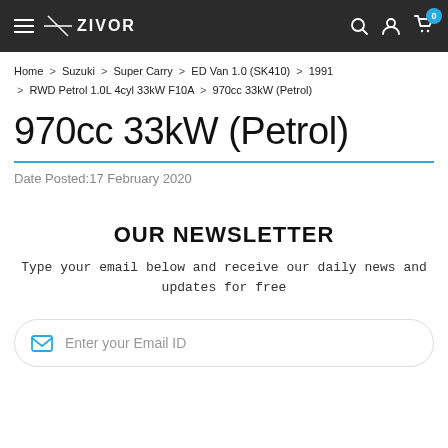ZIVOR — navigation bar with hamburger menu, logo, search, account, cart (0)
Home > Suzuki > Super Carry > ED Van 1.0 (SK410) > 1991 > RWD Petrol 1.0L 4cyl 33kW F10A > 970cc 33kW (Petrol)
970cc 33kW (Petrol)
Date Posted:17 February 2020
OUR NEWSLETTER
Type your email below and receive our daily news and updates for free
Enter your Email ID